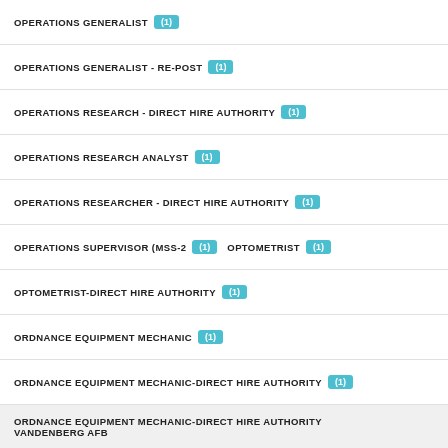OPERATIONS GENERALIST (1)
OPERATIONS GENERALIST - RE-POST (1)
OPERATIONS RESEARCH - DIRECT HIRE AUTHORITY (1)
OPERATIONS RESEARCH ANALYST (1)
OPERATIONS RESEARCHER - DIRECT HIRE AUTHORITY (1)
OPERATIONS SUPERVISOR (MSS-2 (1)  OPTOMETRIST (1)
OPTOMETRIST-DIRECT HIRE AUTHORITY (1)
ORDNANCE EQUIPMENT MECHANIC (1)
ORDNANCE EQUIPMENT MECHANIC-DIRECT HIRE AUTHORITY (1)
ORDNANCE EQUIPMENT MECHANIC-DIRECT HIRE AUTHORITY VANDENBERG AFB
ORTHOPEDIC NURSE PRACTIONER (1)
OVERSEAS PRIVATE INVESTMENT CORPORATION (1)
PHYSICIAN (OCCUPATIONAL MEDICINE) (1)